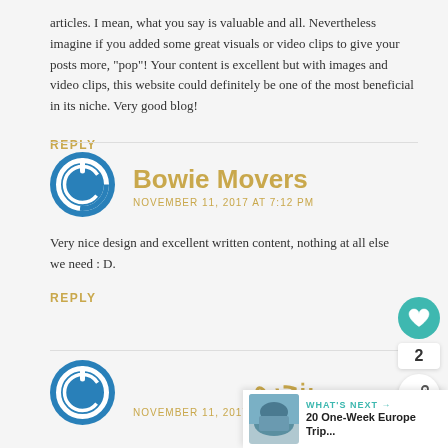articles. I mean, what you say is valuable and all. Nevertheless imagine if you added some great visuals or video clips to give your posts more, "pop"! Your content is excellent but with images and video clips, this website could definitely be one of the most beneficial in its niche. Very good blog!
REPLY
Bowie Movers
NOVEMBER 11, 2017 AT 7:12 PM
Very nice design and excellent written content, nothing at all else we need : D.
REPLY
[Figure (illustration): Blue circular power button avatar icon for Bowie Movers commenter]
پنجره
NOVEMBER 11, 2017 AT 7:13 PM
[Figure (illustration): Blue circular power button avatar icon for پنجره commenter]
WHAT'S NEXT → 20 One-Week Europe Trip...